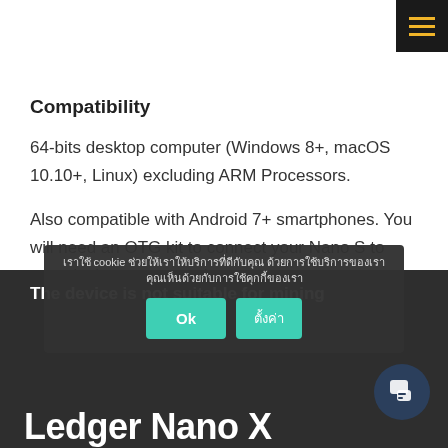Compatibility
64-bits desktop computer (Windows 8+, macOS 10.10+, Linux) excluding ARM Processors.
Also compatible with Android 7+ smartphones. You will need an OTG kit to connect your Nano S to your desktop or smartphone.
The device is not suitable for mining
คุกกี้ cookie ช่วยให้เราให้บริการที่ดีกับคุณ ด้วยการใช้บริการของเรา คุณเห็นด้วยกับการใช้คุกกี้ของเรา
Ledger Nano X